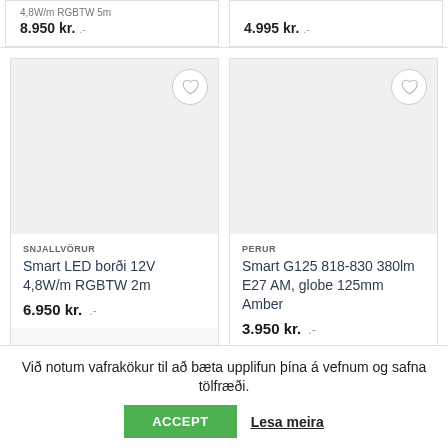4,8W/m RGBTW 5m
8.950 kr. .-
4.995 kr. .-
SNJALLVÖRUR
Smart LED borði 12V 4,8W/m RGBTW 2m
6.950 kr. .-
PERUR
Smart G125 818-830 380lm E27 AM, globe 125mm Amber
3.950 kr. .-
Við notum vafrakökur til að bæta upplifun þína á vefnum og safna tölfræði.
ACCEPT
Lesa meira